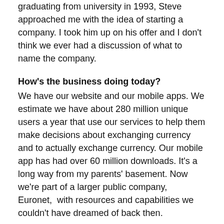graduating from university in 1993, Steve approached me with the idea of starting a company. I took him up on his offer and I don't think we ever had a discussion of what to name the company.
How's the business doing today?
We have our website and our mobile apps. We estimate we have about 280 million unique users a year that use our services to help them make decisions about exchanging currency and to actually exchange currency. Our mobile app has had over 60 million downloads. It's a long way from my parents' basement. Now we're part of a larger public company, Euronet, with resources and capabilities we couldn't have dreamed of back then.
Why foreign currency?